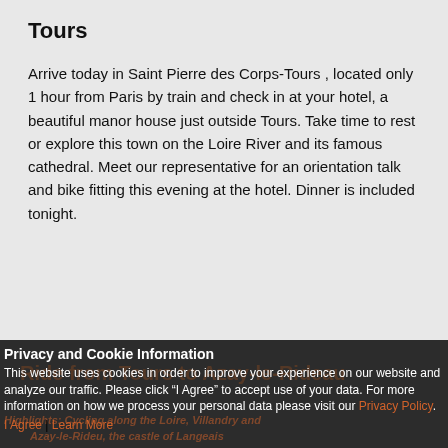Tours
Arrive today in Saint Pierre des Corps-Tours , located only 1 hour from Paris by train and check in at your hotel, a beautiful manor house just outside Tours. Take time to rest or explore this town on the Loire River and its famous cathedral. Meet our representative for an orientation talk and bike fitting this evening at the hotel. Dinner is included tonight.
Privacy and Cookie Information
This website uses cookies in order to improve your experience on our website and analyze our traffic. Please click “I Agree” to accept use of your data. For more information on how we process your personal data please visit our Privacy Policy.
I Agree | Learn More
Ride from Tours to Azay-le-Rideau
Highlights: Cycling along the Loire, Villandry and Azay-le-Rideu, the castle of Langeais